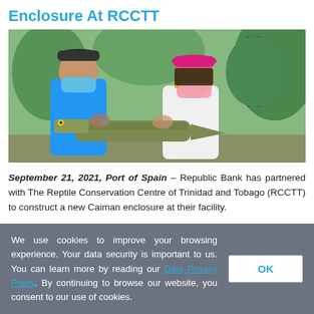Enclosure At RCCTT
[Figure (photo): Two people wearing face masks holding a small caiman/crocodilian outdoors at the Reptile Conservation Centre of Trinidad and Tobago. The person on the left wears a blue polo shirt and blue mask; the person on the right wears a white shirt and pink cap.]
September 21, 2021, Port of Spain – Republic Bank has partnered with The Reptile Conservation Centre of Trinidad and Tobago (RCCTT) to construct a new Caiman enclosure at their facility.
📅 Tuesday 21 September 2021
We use cookies to improve your browsing experience. Your data security is important to us. You can learn more by reading our Data Privacy Policy. By continuing to browse our website, you consent to our use of cookies.